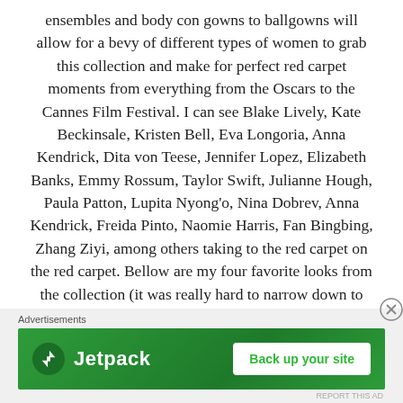ensembles and body con gowns to ballgowns will allow for a bevy of different types of women to grab this collection and make for perfect red carpet moments from everything from the Oscars to the Cannes Film Festival. I can see Blake Lively, Kate Beckinsale, Kristen Bell, Eva Longoria, Anna Kendrick, Dita von Teese, Jennifer Lopez, Elizabeth Banks, Emmy Rossum, Taylor Swift, Julianne Hough, Paula Patton, Lupita Nyong'o, Nina Dobrev, Anna Kendrick, Freida Pinto, Naomie Harris, Fan Bingbing, Zhang Ziyi, among others taking to the red carpet on the red carpet. Bellow are my four favorite looks from the collection (it was really hard to narrow down to four) and the
Advertisements
[Figure (other): Jetpack advertisement banner with green background, Jetpack logo on left and 'Back up your site' button on right]